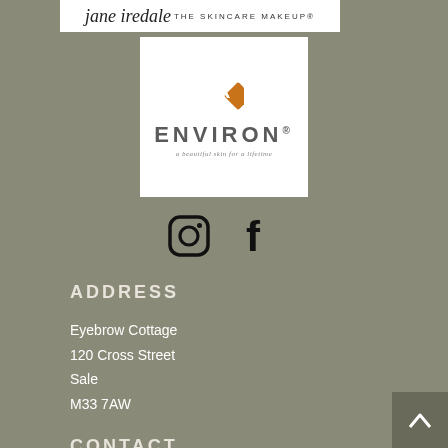[Figure (logo): Jane Iredale The Skincare Makeup® logo on white banner]
[Figure (logo): Environ skincare logo with orange diamond icon, brand name ENVIRON®, tagline 'a beautiful skin for a lifetime' on white background]
[Figure (illustration): Instagram and Facebook social media icons in black]
ADDRESS
Eyebrow Cottage
120 Cross Street
Sale
M33 7AW
CONTACT
Tel: 01612431919
Email: info@myskinmedics.co.uk